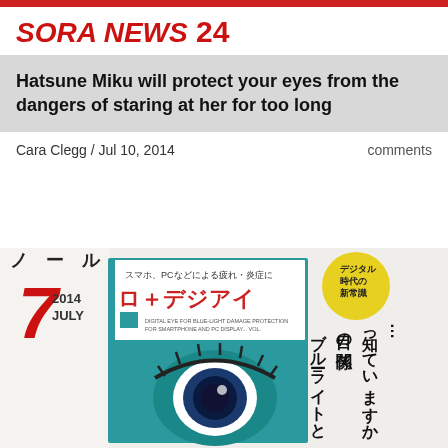SORA NEWS 24
Hatsune Miku will protect your eyes from the dangers of staring at her for too long
Cara Clegg / Jul 10, 2014
comments
[Figure (photo): Photo of a Japanese magazine cover dated July 2014 featuring eye drop product 'ロートデジアイ' (Rohto Digi Eye) with Japanese text about blue light and eye health, and an anime-style illustration of an eye]